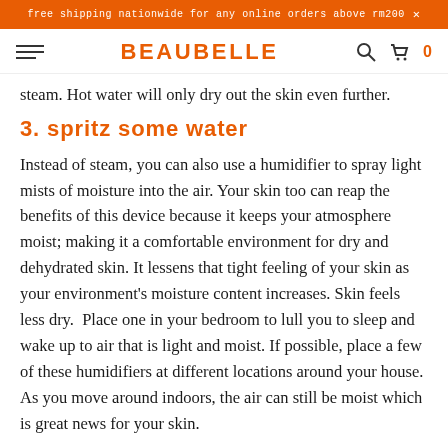free shipping nationwide for any online orders above rm200 ×
BEAUBELLE
steam. Hot water will only dry out the skin even further.
3. spritz some water
Instead of steam, you can also use a humidifier to spray light mists of moisture into the air. Your skin too can reap the benefits of this device because it keeps your atmosphere moist; making it a comfortable environment for dry and dehydrated skin. It lessens that tight feeling of your skin as your environment's moisture content increases. Skin feels less dry.  Place one in your bedroom to lull you to sleep and wake up to air that is light and moist. If possible, place a few of these humidifiers at different locations around your house. As you move around indoors, the air can still be moist which is great news for your skin.
4. select your skin care